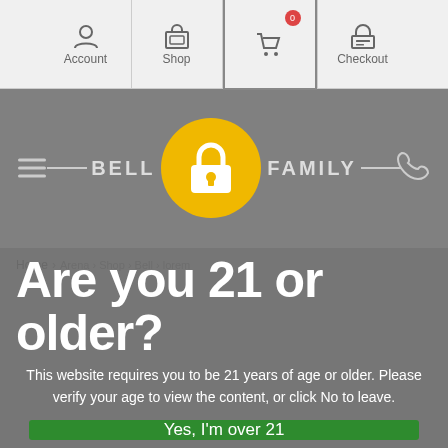Account | Shop | Cart | Checkout
[Figure (logo): Bell Family brand logo with lock icon overlay]
Home > ...
Are you 21 or older?
This website requires you to be 21 years of age or older. Please verify your age to view the content, or click No to leave.
Yes, I'm over 21
No I'm not.